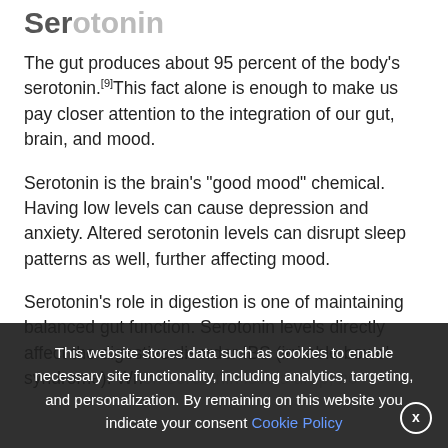Serotonin
The gut produces about 95 percent of the body’s serotonin.[9]This fact alone is enough to make us pay closer attention to the integration of our gut, brain, and mood.
Serotonin is the brain’s “good mood” chemical. Having low levels can cause depression and anxiety. Altered serotonin levels can disrupt sleep patterns as well, further affecting mood.
Serotonin’s role in digestion is one of maintaining balanced gut function. Serotonin levels directly affect the digestive disorder IBS (irritable bowel syndrome). Wh...
This website stores data such as cookies to enable necessary site functionality, including analytics, targeting, and personalization. By remaining on this website you indicate your consent Cookie Policy